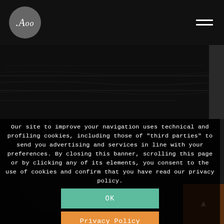[Figure (logo): Round gray circle logo with stylized 'Aoo' text in white serif italic font]
[Figure (photo): Dark hero image showing a close-up of dark textured leather or embossed material, very dimly lit]
Our site to improve your navigation uses technical and profiling cookies, including those of "third parties" to send you advertising and services in line with your preferences. By closing this banner, scrolling this page or by clicking any of its elements, you consent to the use of cookies and confirm that you have read our privacy policy.
OK
Privacy Policy